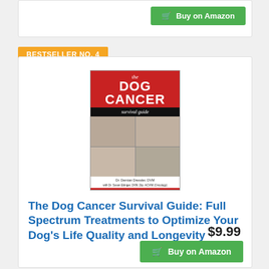[Figure (screenshot): Top partial card with Buy on Amazon button]
BESTSELLER NO. 4
[Figure (photo): Book cover: The Dog Cancer Survival Guide by Dr. Demian Dressler, DVM]
The Dog Cancer Survival Guide: Full Spectrum Treatments to Optimize Your Dog's Life Quality and Longevity
$9.99
Buy on Amazon